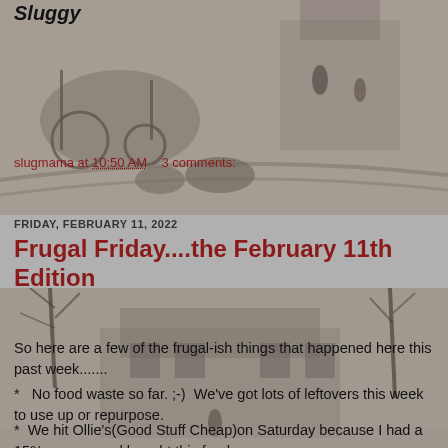Sluggy
[Figure (photo): Vintage sepia-toned photograph of an old house with horse-drawn cart and figures outside, used as background image at top of blog page]
slugmama at 10:50 AM    3 comments:
Share
FRIDAY, FEBRUARY 11, 2022
Frugal Friday....the February 11th Edition
[Figure (photo): Vintage sepia-toned photograph of an old two-story house with bare trees in winter, used as background image]
So here are a few of the frugal-ish things that happened here this past week.......
*   No food waste so far. ;-)  We've got lots of leftovers this week to use up or repurpose.
*  We hit Ollie's(Good Stuff Cheap)on Saturday because I had a 15% coupon and bought this food